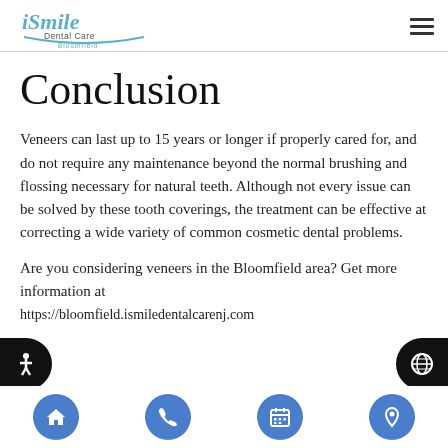iSmile Dental Care Bloomfield
Conclusion
Veneers can last up to 15 years or longer if properly cared for, and do not require any maintenance beyond the normal brushing and flossing necessary for natural teeth. Although not every issue can be solved by these tooth coverings, the treatment can be effective at correcting a wide variety of common cosmetic dental problems.
Are you considering veneers in the Bloomfield area? Get more information at https://bloomfield.ismiledentalcarenj.com
Navigation: Home, Phone, Calendar, Location